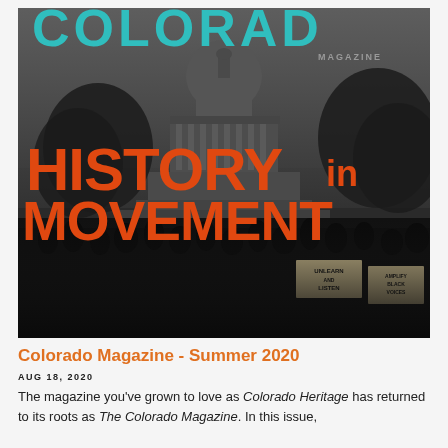[Figure (photo): Black and white photograph of a large protest crowd in front of the Colorado State Capitol building. Overlaid in large orange bold text: 'HISTORY in MOVEMENT'. The Colorado Magazine logo in teal appears at the top. Signs in the crowd read 'UNLEARN AND LISTEN' and 'AMPLIFY BLACK VOICES'. The word 'MAGAZINE' appears in gray at top right.]
Colorado Magazine - Summer 2020
AUG 18, 2020
The magazine you've grown to love as Colorado Heritage has returned to its roots as The Colorado Magazine. In this issue,